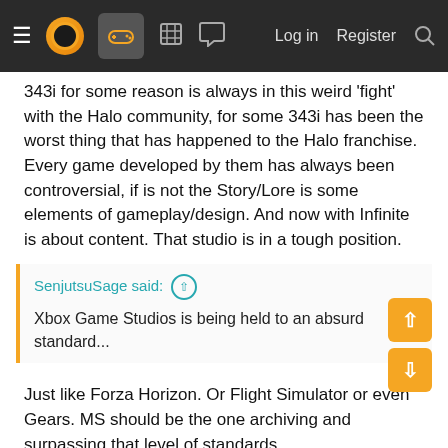Navigation bar with menu, logo, gamepad icon, building icon, chat icon, Log in, Register, Search
343i for some reason is always in this weird 'fight' with the Halo community, for some 343i has been the worst thing that has happened to the Halo franchise. Every game developed by them has always been controversial, if is not the Story/Lore is some elements of gameplay/design. And now with Infinite is about content. That studio is in a tough position.
SenjutsuSage said: ↑
Xbox Game Studios is being held to an absurd standard...
Just like Forza Horizon. Or Flight Simulator or even Gears. MS should be the one archiving and surpassing that level of standards.
SenjutsuSage said: ↑
considering they just came off a year where they were the best publisher of the year with the highest ever recorded average score.